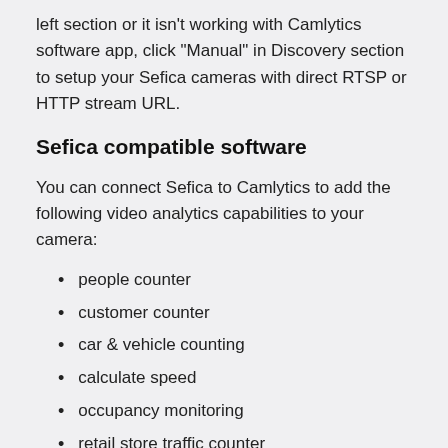left section or it isn't working with Camlytics software app, click "Manual" in Discovery section to setup your Sefica cameras with direct RTSP or HTTP stream URL.
Sefica compatible software
You can connect Sefica to Camlytics to add the following video analytics capabilities to your camera:
people counter
customer counter
car & vehicle counting
calculate speed
occupancy monitoring
retail store traffic counter
motion detection & alerts
tailgating security